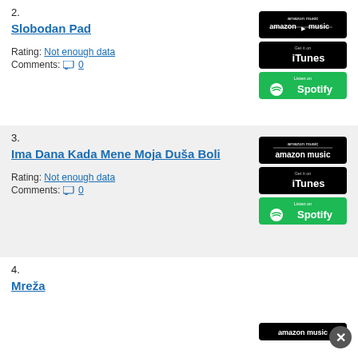2. Slobodan Pad — Rating: Not enough data, Comments: 0
3. Ima Dana Kada Mene Moja Duša Boli — Rating: Not enough data, Comments: 0
4. Mreža